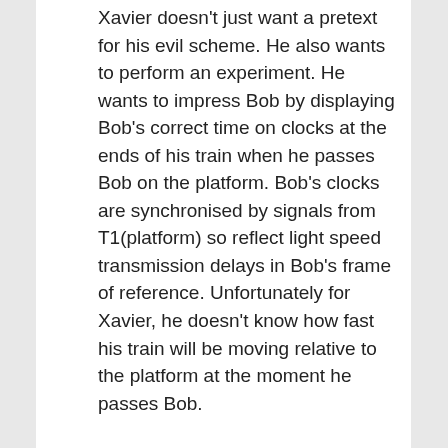Xavier doesn't just want a pretext for his evil scheme. He also wants to perform an experiment. He wants to impress Bob by displaying Bob's correct time on clocks at the ends of his train when he passes Bob on the platform. Bob's clocks are synchronised by signals from T1(platform) so reflect light speed transmission delays in Bob's frame of reference. Unfortunately for Xavier, he doesn't know how fast his train will be moving relative to the platform at the moment he passes Bob.
How can Xavier get his clocks to show the same as Bobs'? There are two possibilities. He could either send a timing signal to each of the clocks at the ends of his train or he could walk the clocks from his position in the centre to each of the two